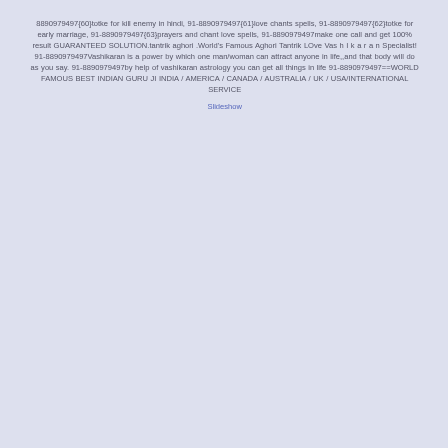8890979497{60}totke for kill enemy in hindi, 91-8890979497{61}love chants spells, 91-8890979497{62}totke for early marriage, 91-8890979497{63}prayers and chant love spells, 91-8890979497make one call and get 100% result GUARANTEED SOLUTION.tantrik aghori .World's Famous Aghori Tantrik LOve Vas h I k a r a n Specialist! 91-8890979497Vashikaran is a power by which one man/woman can attract anyone in life,,and that body will do as you say. 91-8890979497by help of vashikaran astrology you can get all things in life 91-8890979497==WORLD FAMOUS BEST INDIAN GURU JI INDIA / AMERICA / CANADA / AUSTRALIA / UK / USA/INTERNATIONAL SERVICE
Slideshow